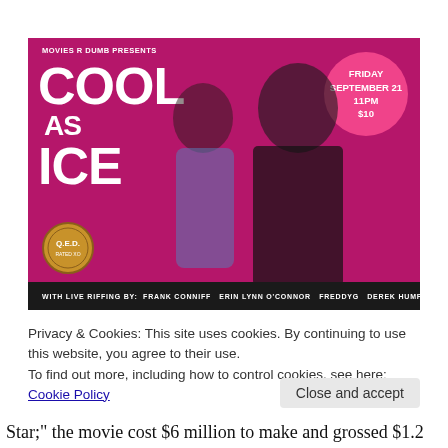[Figure (photo): Movie poster for 'Cool as Ice' on a magenta/purple background, featuring two people — a woman in denim jacket and a man in a black leather jacket with sunglasses. Top left shows 'MOVIES R DUMB PRESENTS' and the title 'COOL AS ICE' in large white letters. A pink circle in the top right reads 'FRIDAY SEPTEMBER 21 11PM $10'. Bottom left has a Q.E.D. badge. Bottom bar reads: 'WITH LIVE RIFFING BY: FRANK CONNIFF  ERIN LYNN O'CONNOR  FREDDYG  DEREK HUMPHREY']
Privacy & Cookies: This site uses cookies. By continuing to use this website, you agree to their use.
To find out more, including how to control cookies, see here: Cookie Policy
Close and accept
Star;" the movie cost $6 million to make and grossed $1.2